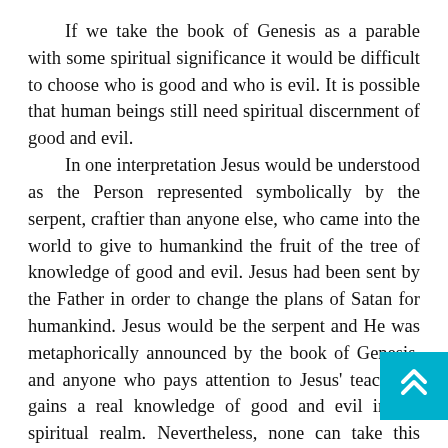If we take the book of Genesis as a parable with some spiritual significance it would be difficult to choose who is good and who is evil. It is possible that human beings still need spiritual discernment of good and evil.
In one interpretation Jesus would be understood as the Person represented symbolically by the serpent, craftier than anyone else, who came into the world to give to humankind the fruit of the tree of knowledge of good and evil. Jesus had been sent by the Father in order to change the plans of Satan for humankind. Jesus would be the serpent and He was metaphorically announced by the book of Genesis, and anyone who pays attention to Jesus' teachings gains a real knowledge of good and evil in the spiritual realm. Nevertheless, none can take this interpretation to have any